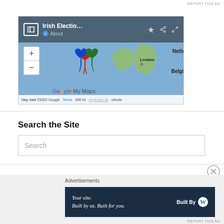REPORT THIS AD
[Figure (map): Google My Maps embedded map showing Ireland/UK region with colorful heart-shaped markers over Ireland, showing London label, Netherlands and Belgium partial labels, with zoom controls, Google My Maps logo, and map footer with copyright info.]
Search the Site
Search
Advertisements
[Figure (screenshot): WordPress advertisement banner: 'Your site. Built by us. Built for you.' with Built By WordPress logo on dark navy background.]
REPORT THIS AD